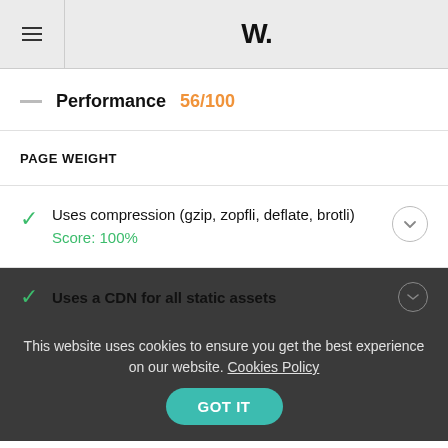W.
Performance  56/100
PAGE WEIGHT
Uses compression (gzip, zopfli, deflate, brotli)  Score: 100%
Uses a CDN for all static assets
This website uses cookies to ensure you get the best experience on our website. Cookies Policy  GOT IT